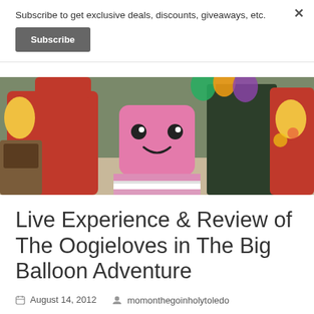Subscribe to get exclusive deals, discounts, giveaways, etc.
Subscribe
[Figure (photo): Scene with costumed characters from The Oogieloves in The Big Balloon Adventure, featuring colorful costumes including red and yellow outfits, and a pink square-shaped character in the center]
Live Experience & Review of The Oogieloves in The Big Balloon Adventure
August 14, 2012  momonthegoinholytoledo